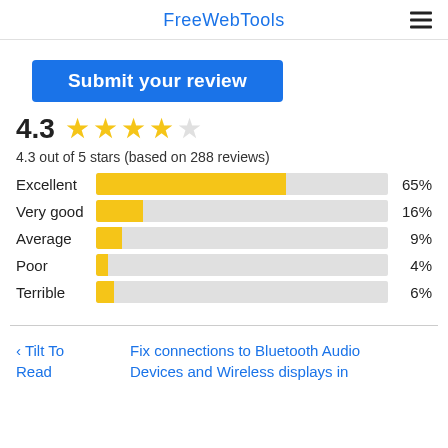FreeWebTools
Submit your review
4.3 ★★★★☆
4.3 out of 5 stars (based on 288 reviews)
[Figure (bar-chart): Review rating breakdown]
‹ Tilt To Read
Fix connections to Bluetooth Audio Devices and Wireless displays in